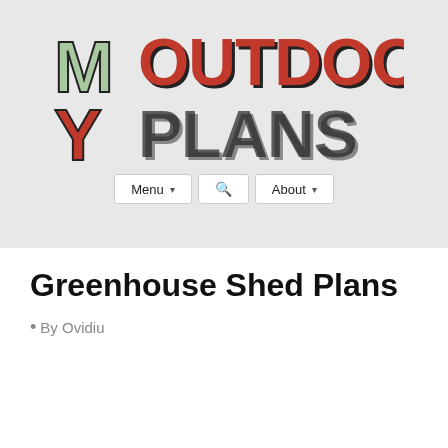[Figure (logo): My Outdoor Plans logo with stylized bold text: 'MY' in dark/green and 'OUTDOOR PLANS' in red and black 3D-style lettering on a light gray background]
Menu ▾  🔍  About ▾
Greenhouse Shed Plans
• By Ovidiu